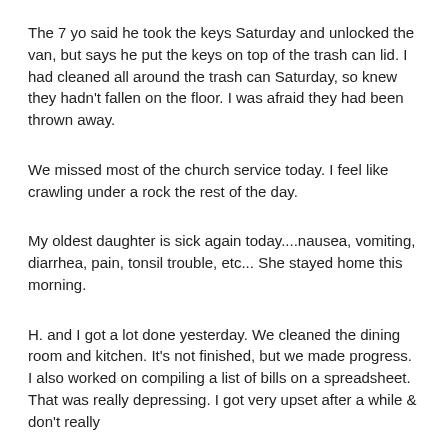The 7 yo said he took the keys Saturday and unlocked the van, but says he put the keys on top of the trash can lid. I had cleaned all around the trash can Saturday, so knew they hadn't fallen on the floor. I was afraid they had been thrown away.
We missed most of the church service today. I feel like crawling under a rock the rest of the day.
My oldest daughter is sick again today....nausea, vomiting, diarrhea, pain, tonsil trouble, etc... She stayed home this morning.
H. and I got a lot done yesterday. We cleaned the dining room and kitchen. It's not finished, but we made progress. I also worked on compiling a list of bills on a spreadsheet. That was really depressing. I got very upset after a while & don't really